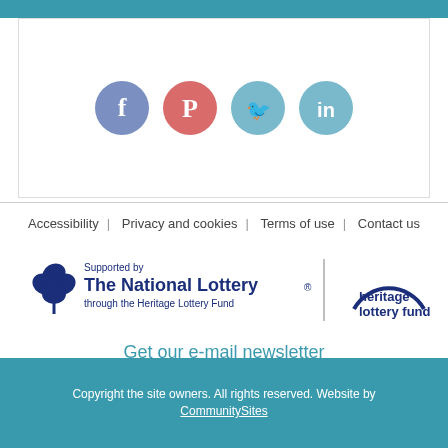[Figure (other): Social media icons: Facebook (blue-grey circle), Pinterest (salmon/red circle), Twitter (light blue circle), LinkedIn (light blue circle)]
Accessibility   Privacy and cookies   Terms of use   Contact us
[Figure (logo): Supported by The National Lottery through the Heritage Lottery Fund logo, with Heritage Lottery Fund logo on the right]
Get our e-mail newsletter
Keep up-to-date and subscribe now
Copyright the site owners. All rights reserved. Website by CommunitySites